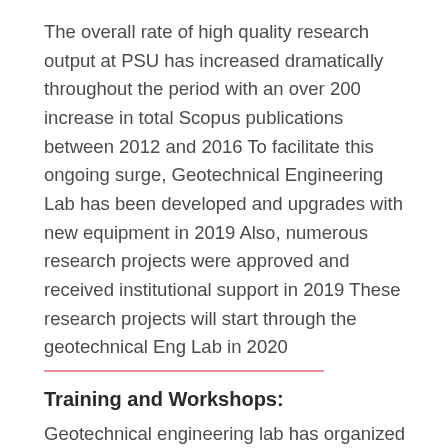The overall rate of high quality research output at PSU has increased dramatically throughout the period with an over 200 increase in total Scopus publications between 2012 and 2016 To facilitate this ongoing surge, Geotechnical Engineering Lab has been developed and upgrades with new equipment in 2019 Also, numerous research projects were approved and received institutional support in 2019 These research projects will start through the geotechnical Eng Lab in 2020
Training and Workshops:
Geotechnical engineering lab has organized the 1 st online workshop for numerical and finite element analysis in geotechnical engineering This workshop